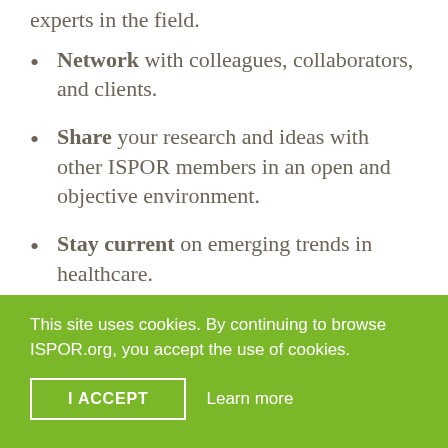experts in the field.
Network with colleagues, collaborators, and clients.
Share your research and ideas with other ISPOR members in an open and objective environment.
Stay current on emerging trends in healthcare.
This site uses cookies. By continuing to browse ISPOR.org, you accept the use of cookies.
I ACCEPT
Learn more